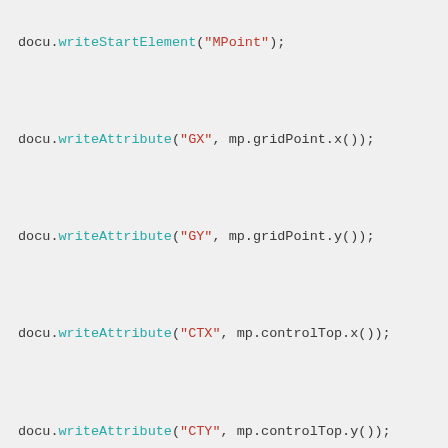docu.writeStartElement("MPoint");

docu.writeAttribute("GX", mp.gridPoint.x());

docu.writeAttribute("GY", mp.gridPoint.y());

docu.writeAttribute("CTX", mp.controlTop.x());

docu.writeAttribute("CTY", mp.controlTop.y());

docu.writeAttribute("CBX", mp.controlBottom.x());

docu.writeAttribute("CBY", mp.controlBottom.y());

docu.writeAttribute("CLX", mp.controlLeft.x());

docu.writeAttribute("CLY", mp.controlLeft.y());

docu.writeAttribute("CRX", mp.controlRight.x());

docu.writeAttribute("CRY", mp.controlRight.y());

docu.writeAttribute("CCX", mp.controlColor.x());

docu.writeAttribute("CCY", mp.controlColor.y());

docu.writeAttribute("NAME", mp.colorName);